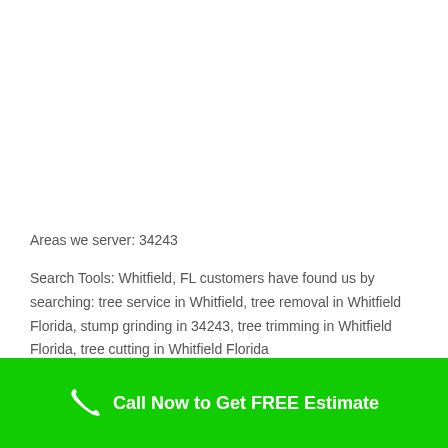Areas we server: 34243
Search Tools: Whitfield, FL customers have found us by searching: tree service in Whitfield, tree removal in Whitfield Florida, stump grinding in 34243, tree trimming in Whitfield Florida, tree cutting in Whitfield Florida
Call Now to Get FREE Estimate